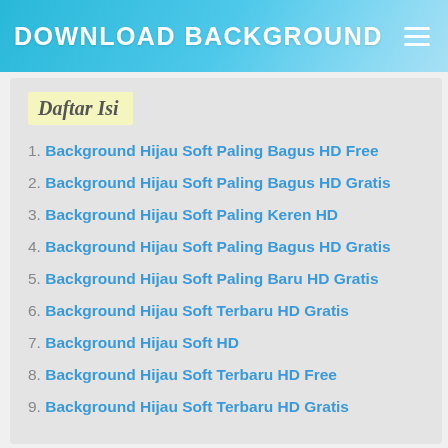DOWNLOAD BACKGROUND
Daftar Isi
1. Background Hijau Soft Paling Bagus HD Free
2. Background Hijau Soft Paling Bagus HD Gratis
3. Background Hijau Soft Paling Keren HD
4. Background Hijau Soft Paling Bagus HD Gratis
5. Background Hijau Soft Paling Baru HD Gratis
6. Background Hijau Soft Terbaru HD Gratis
7. Background Hijau Soft HD
8. Background Hijau Soft Terbaru HD Free
9. Background Hijau Soft Terbaru HD Gratis